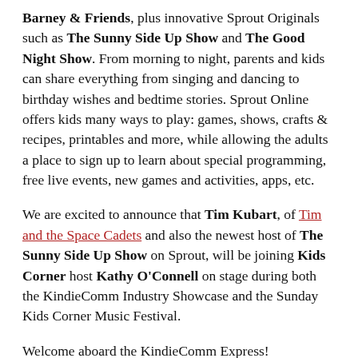Barney & Friends, plus innovative Sprout Originals such as The Sunny Side Up Show and The Good Night Show. From morning to night, parents and kids can share everything from singing and dancing to birthday wishes and bedtime stories. Sprout Online offers kids many ways to play: games, shows, crafts & recipes, printables and more, while allowing the adults a place to sign up to learn about special programming, free live events, new games and activities, apps, etc.
We are excited to announce that Tim Kubart, of Tim and the Space Cadets and also the newest host of The Sunny Side Up Show on Sprout, will be joining Kids Corner host Kathy O'Connell on stage during both the KindieComm Industry Showcase and the Sunday Kids Corner Music Festival.
Welcome aboard the KindieComm Express!
Be sure to register before May 1st to take advantage of the